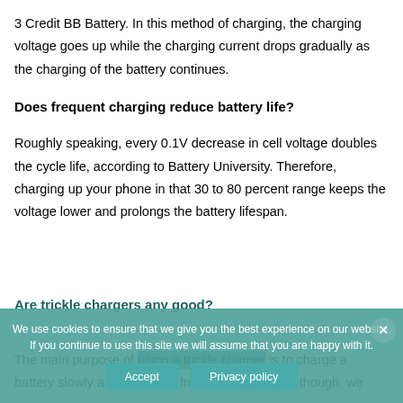3 Credit BB Battery. In this method of charging, the charging voltage goes up while the charging current drops gradually as the charging of the battery continues.
Does frequent charging reduce battery life?
Roughly speaking, every 0.1V decrease in cell voltage doubles the cycle life, according to Battery University. Therefore, charging up your phone in that 30 to 80 percent range keeps the voltage lower and prolongs the battery lifespan.
Are trickle chargers any good?
The main purpose of using a trickle charger is to charge a battery slowly and prevent it from overcharging – though, we
We use cookies to ensure that we give you the best experience on our website. If you continue to use this site we will assume that you are happy with it.